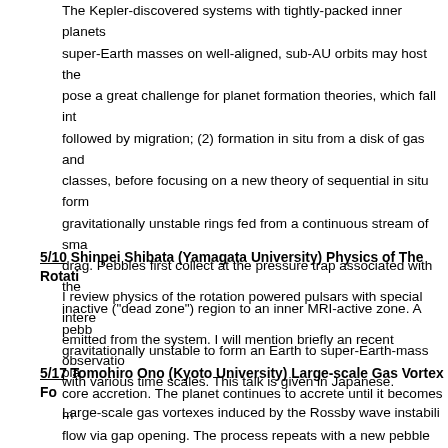The Kepler-discovered systems with tightly-packed inner planets super-Earth masses on well-aligned, sub-AU orbits may host the pose a great challenge for planet formation theories, which fall int followed by migration; (2) formation in situ from a disk of gas and classes, before focusing on a new theory of sequential in situ form gravitationally unstable rings fed from a continuous stream of sma drag. Pebbles first collect at the pressure trap associated with the inactive ("dead zone") region to an inner MRI-active zone. A pebb gravitationally unstable to form an Earth to super-Earth-mass pla core accretion. The planet continues to accrete until it becomes m flow via gap opening. The process repeats with a new pebble ring associated with the retreating dead-zone boundary. I discuss the t mass scalings with orbital radius, and minimum orbital separation. Finally I speculate about potential causes of diversity of planetary System analogs.
5/10 Shinpei Shibata (Yamagata University) Physics of The Rotati
I review physics of the rotation powered pulsars with special intere emitted from the system. I will mention briefly an recent observatio with various time scales. This talk is given in Japanese.
5/17 Tomohiro Ono (Kyoto University) Large-scale Gas Vortex Fo
Large-scale gas vortexes induced by the Rossby wave instabili